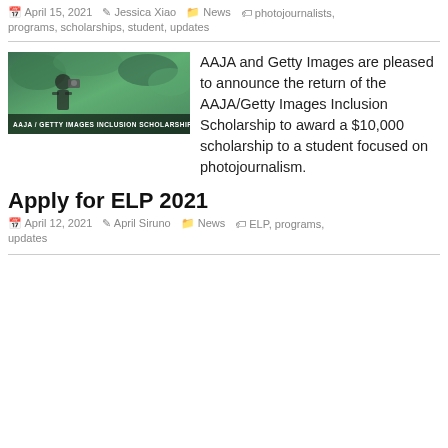April 15, 2021 · Jessica Xiao · News · photojournalists, programs, scholarships, student, updates
[Figure (photo): AAJA / Getty Images Inclusion Scholarship banner with a photographer in a green outdoor setting]
AAJA and Getty Images are pleased to announce the return of the AAJA/Getty Images Inclusion Scholarship to award a $10,000 scholarship to a student focused on photojournalism.
Apply for ELP 2021
April 12, 2021 · April Siruno · News · ELP, programs, updates